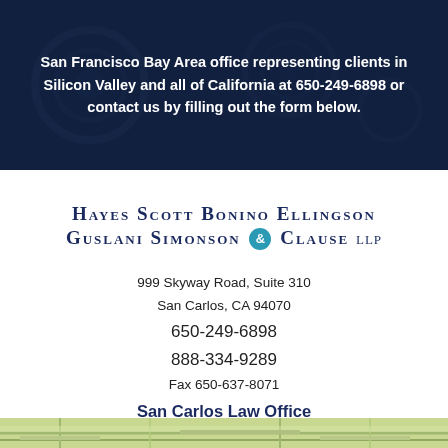San Francisco Bay Area office representing clients in Silicon Valley and all of California at 650-249-6898 or contact us by filling out the form below.
[Figure (logo): Hayes Scott Bonino Ellingson Guslani Simonson & Clause LLP law firm logo with teal ampersand circle]
999 Skyway Road, Suite 310
San Carlos, CA 94070
650-249-6898
888-334-9289
Fax 650-637-8071
San Carlos Law Office
[Figure (map): Partial map view of the San Carlos area at the bottom of the page]